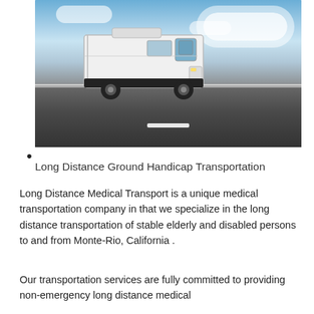[Figure (photo): A white commercial high-roof cargo van driving on a highway road under a partly cloudy blue sky. The van is driving toward the viewer from the center-left. The road has white lane markings and a highway barrier is visible on the right side.]
Long Distance Ground Handicap Transportation
Long Distance Medical Transport is a unique medical transportation company in that we specialize in the long distance transportation of stable elderly and disabled persons to and from Monte-Rio, California .
Our transportation services are fully committed to providing non-emergency long distance medical